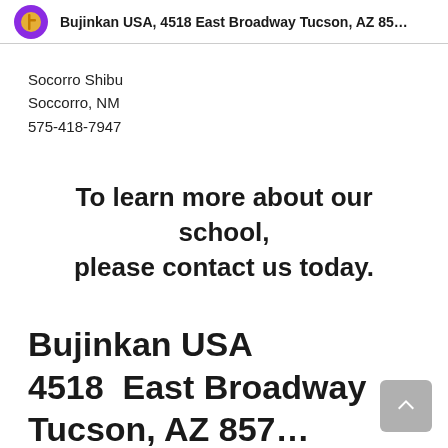Bujinkan USA, 4518 East Broadway Tucson, AZ 85...
Socorro Shibu
Soccorro, NM
575-418-7947
To learn more about our school, please contact us today.
Bujinkan USA
4518  East Broadway
Tucson, AZ 857...